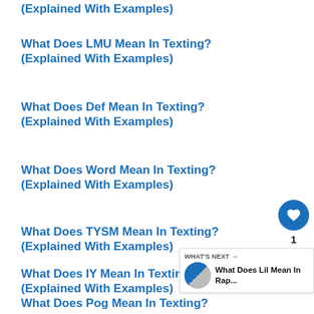(Explained With Examples)
What Does LMU Mean In Texting? (Explained With Examples)
What Does Def Mean In Texting? (Explained With Examples)
What Does Word Mean In Texting? (Explained With Examples)
What Does TYSM Mean In Texting? (Explained With Examples)
What Does IY Mean In Texting? (Explained With Examples)
What Does Pog Mean In Texting?